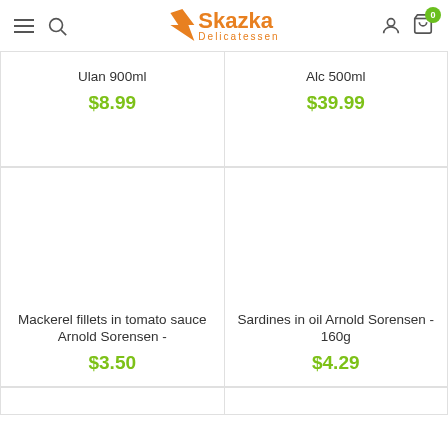Skazka Delicatessen
Ulan 900ml
$8.99
Alc 500ml
$39.99
[Figure (screenshot): Empty product image area for Mackerel fillets in tomato sauce Arnold Sorensen]
Mackerel fillets in tomato sauce Arnold Sorensen -
$3.50
[Figure (screenshot): Empty product image area for Sardines in oil Arnold Sorensen - 160g]
Sardines in oil Arnold Sorensen - 160g
$4.29